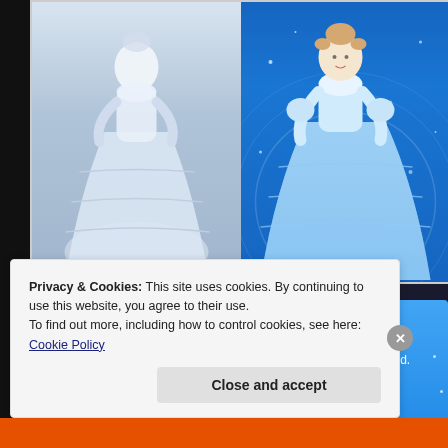[Figure (illustration): Two side-by-side illustrations of Cinderella in a ballgown. Left panel shows a white/light sketch version; right panel shows a full-color blue version on dark blue background with magical swirls.]
[Figure (screenshot): Day One app advertisement on blue background. Text reads 'DAY ONE - The only journaling app you'll ever need.' with a button below.]
Privacy & Cookies: This site uses cookies. By continuing to use this website, you agree to their use.
To find out more, including how to control cookies, see here: Cookie Policy
Close and accept